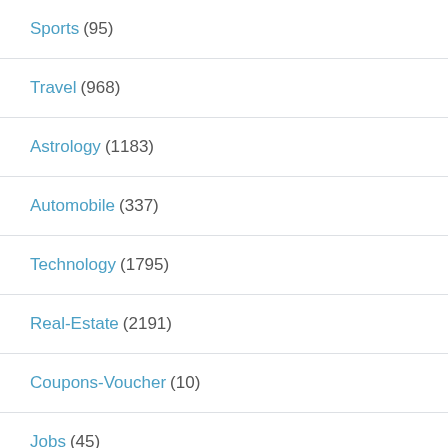Sports (95)
Travel (968)
Astrology (1183)
Automobile (337)
Technology (1795)
Real-Estate (2191)
Coupons-Voucher (10)
Jobs (45)
Pets (45)
Services (2966)